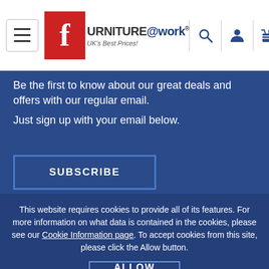[Figure (logo): Furniture@work logo with red F icon, 'URNITURE@work® UK's Best Prices!' text]
Be the first to know about our great deals and offers with our regular email. Just sign up with your email below.
SUBSCRIBE
CONNECT WITH US
This website requires cookies to provide all of its features. For more information on what data is contained in the cookies, please see our Cookie Information page. To accept cookies from this site, please click the Allow button.
ALLOW